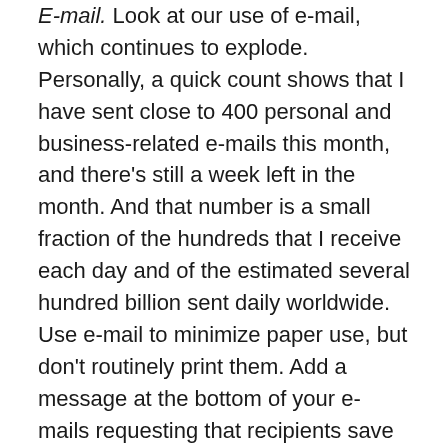E-mail. Look at our use of e-mail, which continues to explode. Personally, a quick count shows that I have sent close to 400 personal and business-related e-mails this month, and there's still a week left in the month. And that number is a small fraction of the hundreds that I receive each day and of the estimated several hundred billion sent daily worldwide. Use e-mail to minimize paper use, but don't routinely print them. Add a message at the bottom of your e-mails requesting that recipients save paper by thinking twice before printing them off their screens. I've seen administrators who have their administrative assistants print out all e-mails so they can read and maybe reply to them. Suggest outsourcing your organization's e-mail to Gmail as Google probably runs its data centers much more economically and greener than you do. And switching can generate cost savings and maybe increased e-mail features for users.